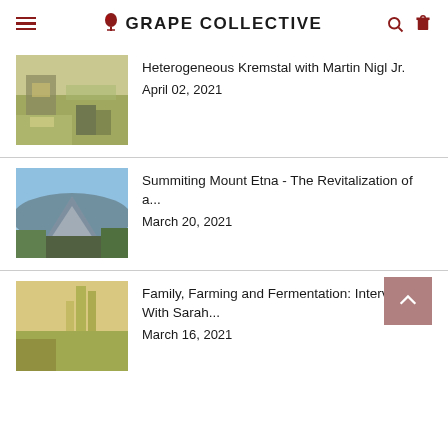GRAPE COLLECTIVE
Heterogeneous Kremstal with Martin Nigl Jr.
April 02, 2021
Summiting Mount Etna - The Revitalization of a...
March 20, 2021
Family, Farming and Fermentation: Interview With Sarah...
March 16, 2021